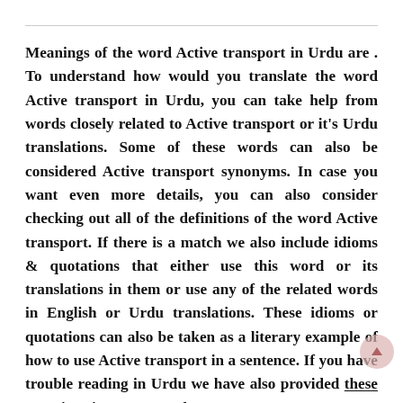Meanings of the word Active transport in Urdu are . To understand how would you translate the word Active transport in Urdu, you can take help from words closely related to Active transport or it's Urdu translations. Some of these words can also be considered Active transport synonyms. In case you want even more details, you can also consider checking out all of the definitions of the word Active transport. If there is a match we also include idioms & quotations that either use this word or its translations in them or use any of the related words in English or Urdu translations. These idioms or quotations can also be taken as a literary example of how to use Active transport in a sentence. If you have trouble reading in Urdu we have also provided these meanings in Roman Urdu.